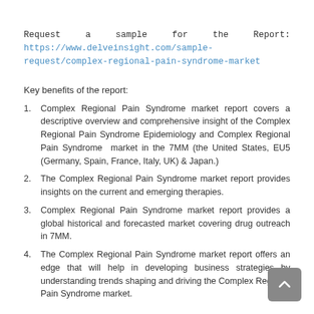Request a sample for the Report: https://www.delveinsight.com/sample-request/complex-regional-pain-syndrome-market
Key benefits of the report:
Complex Regional Pain Syndrome market report covers a descriptive overview and comprehensive insight of the Complex Regional Pain Syndrome Epidemiology and Complex Regional Pain Syndrome market in the 7MM (the United States, EU5 (Germany, Spain, France, Italy, UK) & Japan.)
The Complex Regional Pain Syndrome market report provides insights on the current and emerging therapies.
Complex Regional Pain Syndrome market report provides a global historical and forecasted market covering drug outreach in 7MM.
The Complex Regional Pain Syndrome market report offers an edge that will help in developing business strategies by understanding trends shaping and driving the Complex Regional Pain Syndrome market.